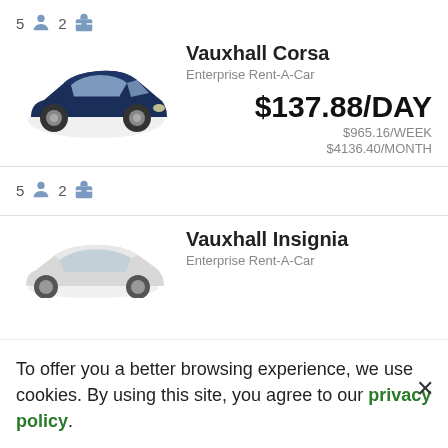5 [person icon] 2 [bag icon]
[Figure (photo): Dark blue Vauxhall Corsa compact car facing left]
Vauxhall Corsa
Enterprise Rent-A-Car
$137.88/DAY
$965.16/WEEK
$4136.40/MONTH
5 [person icon] 2 [bag icon]
[Figure (photo): White Vauxhall Insignia partial view]
Vauxhall Insignia
Enterprise Rent-A-Car
To offer you a better browsing experience, we use cookies. By using this site, you agree to our privacy policy.